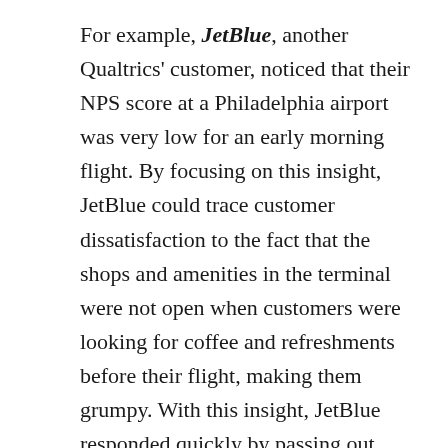For example, JetBlue, another Qualtrics' customer, noticed that their NPS score at a Philadelphia airport was very low for an early morning flight. By focusing on this insight, JetBlue could trace customer dissatisfaction to the fact that the shops and amenities in the terminal were not open when customers were looking for coffee and refreshments before their flight, making them grumpy. With this insight, JetBlue responded quickly by passing out water, juice and coffee at the gate in the morning to boost customer morale. This made a tremendous change in JetBlue's satisfaction scores.
Customers now expect to give feedback, and to have that feedback acted on. This expectation is